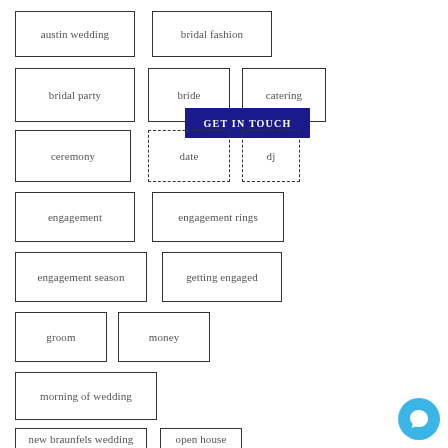austin wedding
bridal fashion
bridal party
bride
catering
ceremony
date
dj
engagement
engagement rings
engagement season
getting engaged
groom
money
morning of wedding
new braunfels wedding
open house